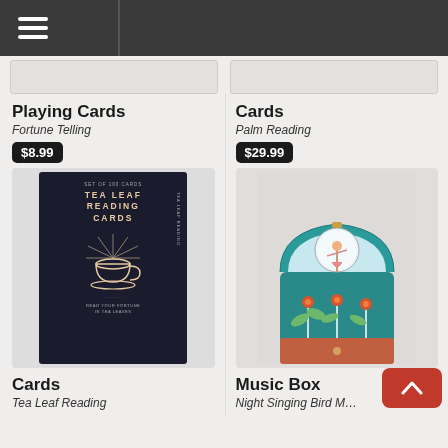Navigation menu
Playing Cards
Fortune Telling
$8.99
[Figure (photo): Tea Leaf Reading Cards box - dark navy box with gold text and teacup illustration]
Cards
Tea Leaf Reading
Cards
Palm Reading
$29.99
[Figure (photo): Teal decorative music box with ballerina figurine, floral patterns, open lid showing mirror]
Music Box
Night Singing Bird M…